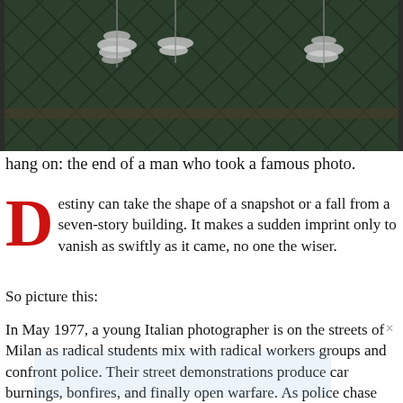[Figure (photo): Aerial or close-up photo of a green diamond-pattern wire fence with tinsel or decorative silver strands hanging on it, dark green background with chain-link pattern]
hang on: the end of a man who took a famous photo.
Destiny can take the shape of a snapshot or a fall from a seven-story building. It makes a sudden imprint only to vanish as swiftly as it came, no one the wiser.
So picture this:
In May 1977, a young Italian photographer is on the streets of Milan as radical students mix with radical workers groups and confront police. Their street demonstrations produce car burnings, bonfires, and finally open warfare. As police chase down scattering protestors, finally knuckling into a slow-moving phalanx, some armed demonstrators do the unthinkable: